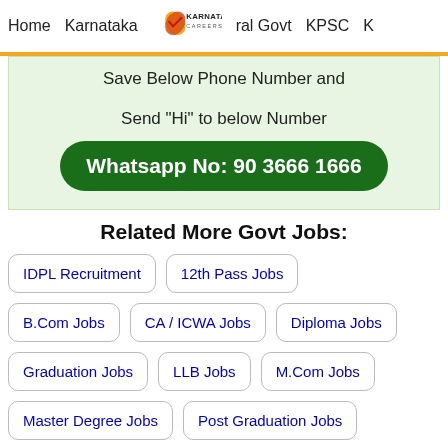Home  Karnataka  Karnataka Careers  ral Govt  KPSC  K
Save Below Phone Number and Send "Hi" to below Number
Whatsapp No: 90 3666 1666
Related More Govt Jobs:
IDPL Recruitment
12th Pass Jobs
B.Com Jobs
CA / ICWA Jobs
Diploma Jobs
Graduation Jobs
LLB Jobs
M.Com Jobs
Master Degree Jobs
Post Graduation Jobs